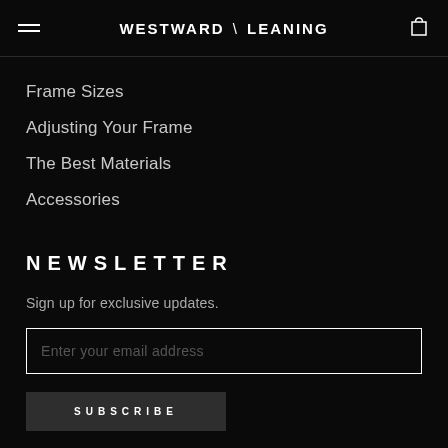WESTWARD \ LEANING
Frame Sizes
Adjusting Your Frame
The Best Materials
Accessories
NEWSLETTER
Sign up for exclusive updates.
Enter your email address
SUBSCRIBE